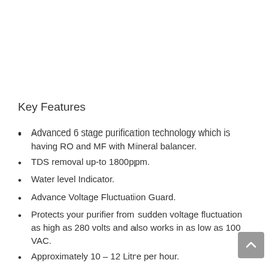Key Features
Advanced 6 stage purification technology which is having RO and MF with Mineral balancer.
TDS removal up-to 1800ppm.
Water level Indicator.
Advance Voltage Fluctuation Guard.
Protects your purifier from sudden voltage fluctuation as high as 280 volts and also works in as low as 100 VAC.
Approximately 10 – 12 Litre per hour.